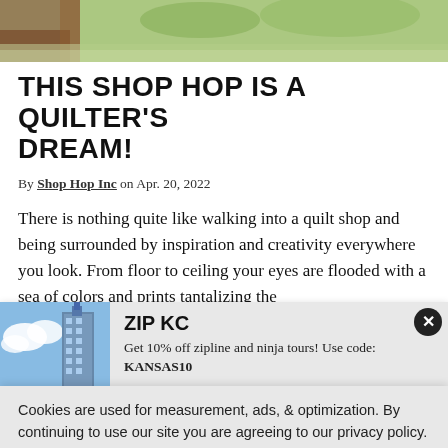[Figure (photo): Top banner photo showing a quilt or rug with green and natural tones on wooden surface]
THIS SHOP HOP IS A QUILTER'S DREAM!
By Shop Hop Inc on Apr. 20, 2022
There is nothing quite like walking into a quilt shop and being surrounded by inspiration and creativity everywhere you look. From floor to ceiling your eyes are flooded with a sea of colors and prints tantalizing the
[Figure (photo): ZIP KC advertisement showing a building/tower with blue sky. Text: ZIP KC - Get 10% off zipline and ninja tours! Use code: KANSAS10]
Cookies are used for measurement, ads, & optimization. By continuing to use our site you are agreeing to our privacy policy.
[Figure (photo): Bottom strip showing colorful floral quilt fabric with sunflowers]